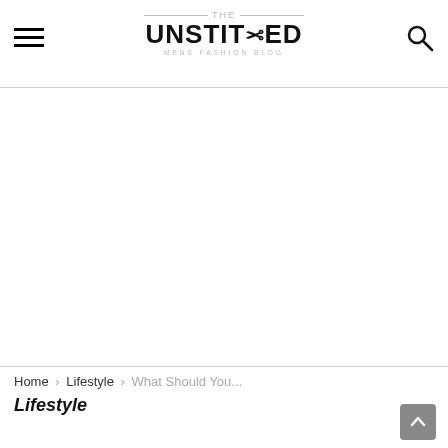THE UNSTITCHED MENS FASHION BLOG
[Figure (logo): The Unstitched mens fashion blog logo with hamburger menu icon on left and search icon on right]
Home › Lifestyle › What Should You...
Lifestyle